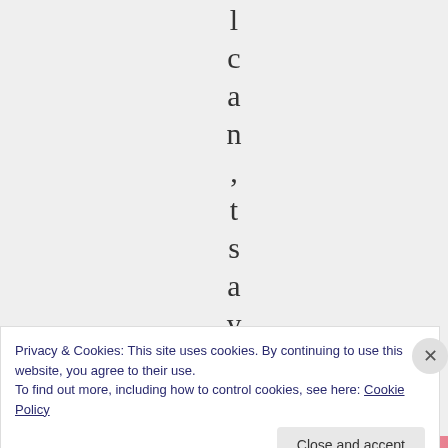l c a n , t s a y l
Privacy & Cookies: This site uses cookies. By continuing to use this website, you agree to their use.
To find out more, including how to control cookies, see here: Cookie Policy
Close and accept